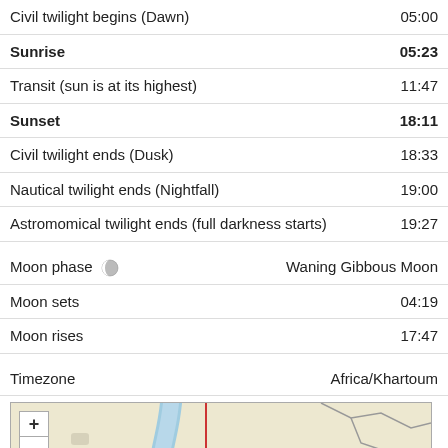| Event | Time |
| --- | --- |
| Civil twilight begins (Dawn) | 05:00 |
| Sunrise | 05:23 |
| Transit (sun is at its highest) | 11:47 |
| Sunset | 18:11 |
| Civil twilight ends (Dusk) | 18:33 |
| Nautical twilight ends (Nightfall) | 19:00 |
| Astromomical twilight ends (full darkness starts) | 19:27 |
| Event | Value |
| --- | --- |
| Moon phase 🌘 | Waning Gibbous Moon |
| Moon sets | 04:19 |
| Moon rises | 17:47 |
| Key | Value |
| --- | --- |
| Timezone | Africa/Khartoum |
[Figure (map): Map showing location near Khartoum, Africa, with river (Nile), terrain, and map controls (+ and - zoom buttons). Arabic text label visible on map.]